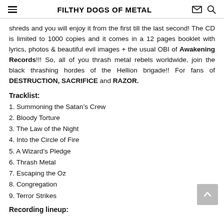FILTHY DOGS OF METAL
shreds and you will enjoy it from the first till the last second! The CD is limited to 1000 copies and it comes in a 12 pages booklet with lyrics, photos & beautiful evil images + the usual OBI of Awakening Records!!! So, all of you thrash metal rebels worldwide, join the black thrashing hordes of the Hellion brigade!! For fans of DESTRUCTION, SACRIFICE and RAZOR.
Tracklist:
1. Summoning the Satan’s Crew
2. Bloody Torture
3. The Law of the Night
4. Into the Circle of Fire
5. A Wizard’s Pledge
6. Thrash Metal
7. Escaping the Oz
8. Congregation
9. Terror Strikes
Recording lineup: